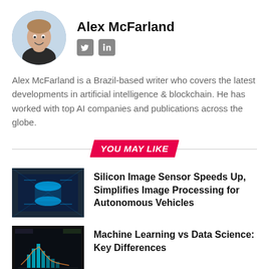[Figure (photo): Circular author photo of Alex McFarland]
Alex McFarland
[Figure (logo): Twitter and LinkedIn social media icons]
Alex McFarland is a Brazil-based writer who covers the latest developments in artificial intelligence & blockchain. He has worked with top AI companies and publications across the globe.
YOU MAY LIKE
[Figure (photo): Thumbnail image of silicon image sensor / autonomous vehicles technology]
Silicon Image Sensor Speeds Up, Simplifies Image Processing for Autonomous Vehicles
[Figure (photo): Thumbnail image of machine learning data science dashboard]
Machine Learning vs Data Science: Key Differences
[Figure (photo): Thumbnail image of AI Parkinson detection breathing patterns]
AI Model Detects Parkinson's From Breathing Patterns